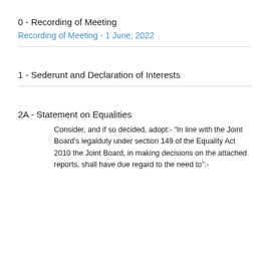0 - Recording of Meeting
Recording of Meeting - 1 June, 2022
1 - Sederunt and Declaration of Interests
2A - Statement on Equalities
Consider, and if so decided, adopt:- “In line with the Joint Board's legalduty under section 149 of the Equality Act 2010 the Joint Board, in making decisions on the attached reports, shall have due regard to the need to":-